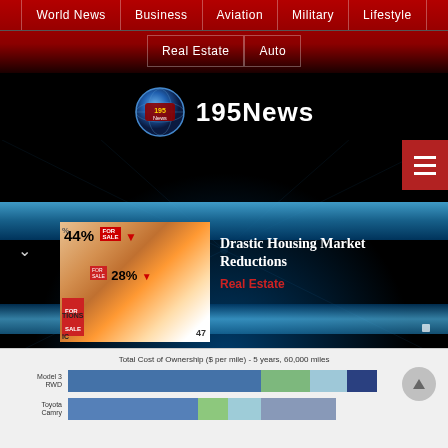World News | Business | Aviation | Military | Lifestyle | Real Estate | Auto
195News
[Figure (screenshot): 195News website banner showing a housing market article with thumbnail image showing 44% and 28% statistics, article title 'Drastic Housing Market Reductions', category label 'Real Estate']
[Figure (bar-chart): Total Cost of Ownership ($ per mile) - 5 years, 60,000 miles]